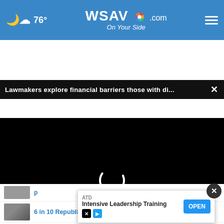76° WSAV.com On Your Side
Lawmakers explore financial barriers those with di... ×
[Figure (screenshot): Black video player area with white loading spinner circle in the center]
6 in 10 Republicans: Trump sho... be
ATD Intensive Leadership Training OPEN